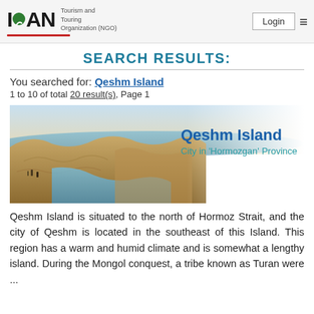IRAN Tourism and Touring Organization (NGO) | Login
SEARCH RESULTS:
You searched for: Qeshm Island
1 to 10 of total 20 result(s), Page 1
[Figure (photo): Aerial/landscape photograph of Qeshm Island rocky coastline with water channels and people visible on the shore. Overlaid text: 'Qeshm Island' and 'City in Hormozgan Province']
Qeshm Island is situated to the north of Hormoz Strait, and the city of Qeshm is located in the southeast of this Island. This region has a warm and humid climate and is somewhat a lengthy island. During the Mongol conquest, a tribe known as Turan were ...